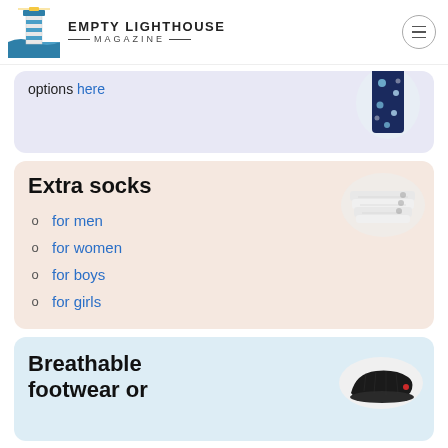EMPTY LIGHTHOUSE MAGAZINE
options here
[Figure (photo): Floral patterned clothing item in navy blue]
Extra socks
[Figure (photo): Stack of white ankle socks]
for men
for women
for boys
for girls
Breathable footwear or
[Figure (photo): Black slip-on breathable shoe]